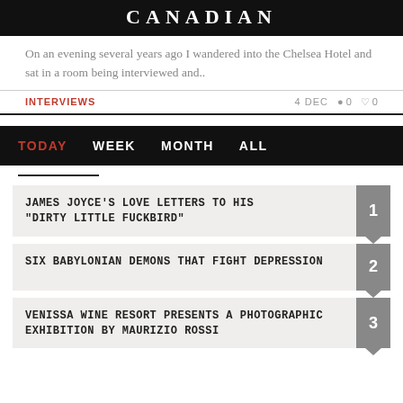CANADIAN
On an evening several years ago I wandered into the Chelsea Hotel and sat in a room being interviewed and..
INTERVIEWS   4 DEC   0   0
TODAY   WEEK   MONTH   ALL
1 JAMES JOYCE'S LOVE LETTERS TO HIS "DIRTY LITTLE FUCKBIRD"
2 SIX BABYLONIAN DEMONS THAT FIGHT DEPRESSION
3 VENISSA WINE RESORT PRESENTS A PHOTOGRAPHIC EXHIBITION BY MAURIZIO ROSSI